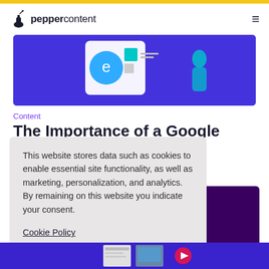peppercontent
[Figure (illustration): Hero banner with purple background showing Internet Explorer logo, a browser window with teal accent, and a person figure on a blue/purple gradient background]
Content
The Importance of a Google Mobile-
This website stores data such as cookies to enable essential site functionality, as well as marketing, personalization, and analytics. By remaining on this website you indicate your consent.
Cookie Policy